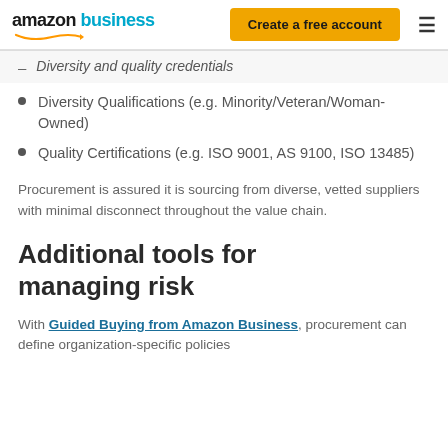amazon business | Create a free account
Diversity and quality credentials
Diversity Qualifications (e.g. Minority/Veteran/Woman-Owned)
Quality Certifications (e.g. ISO 9001, AS 9100, ISO 13485)
Procurement is assured it is sourcing from diverse, vetted suppliers with minimal disconnect throughout the value chain.
Additional tools for managing risk
With Guided Buying from Amazon Business, procurement can define organization-specific policies